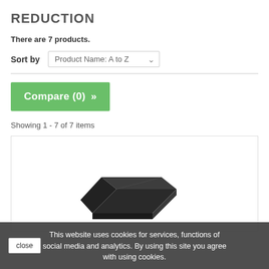REDUCTION
There are 7 products.
Sort by  Product Name: A to Z
[Figure (screenshot): Green Compare (0) > button]
Showing 1 - 7 of 7 items
[Figure (photo): Product image showing a dark/black device on white background within a bordered card]
This website uses cookies for services, functions of social media and analytics. By using this site you agree with using cookies.